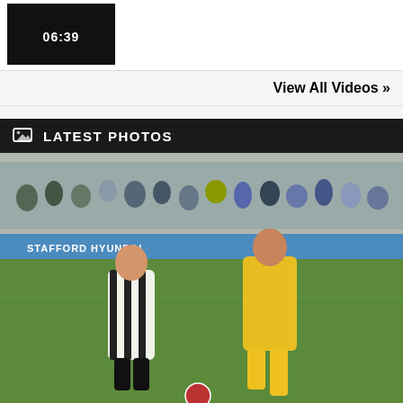[Figure (screenshot): Video thumbnail showing duration 06:39 on black background]
View All Videos »
LATEST PHOTOS
[Figure (photo): Football match photo showing two players, one in black-and-white striped kit and one in yellow Joma kit, competing for the ball on a grass pitch with spectators and Stafford Hyundai advertising board in background]